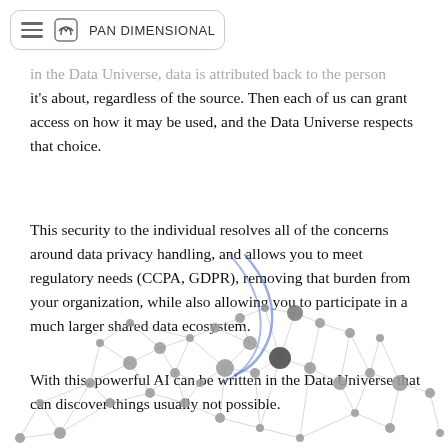PAN DIMENSIONAL
In the Data Universe, data is attributed back to the person it's about, regardless of the source. Then each of us can grant access on how it may be used, and the Data Universe respects that choice.
This security to the individual resolves all of the concerns around data privacy handling, and allows you to meet regulatory needs (CCPA, GDPR), removing that burden from your organization, while also allowing you to participate in a much larger shared data ecosystem.
With this, powerful AI can be written in the Data Universe that can discover things usually not possible.
[Figure (network-graph): A network graph showing interconnected nodes of varying sizes connected by lines, representing a data ecosystem or knowledge graph. Nodes are grey/dark grey circles of various sizes connected by thin grey lines forming a mesh-like structure.]